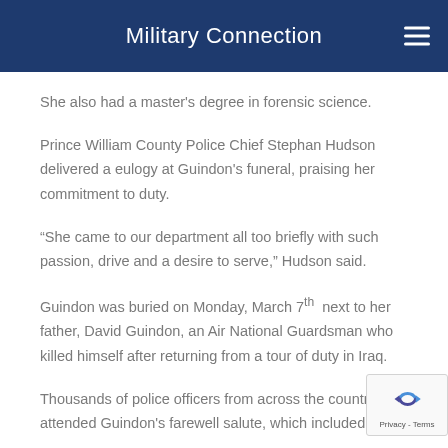Military Connection
She also had a master's degree in forensic science.
Prince William County Police Chief Stephan Hudson delivered a eulogy at Guindon's funeral, praising her commitment to duty.
“She came to our department all too briefly with such passion, drive and a desire to serve,” Hudson said.
Guindon was buried on Monday, March 7th next to her father, David Guindon, an Air National Guardsman who killed himself after returning from a tour of duty in Iraq.
Thousands of police officers from across the country attended Guindon's farewell salute, which included